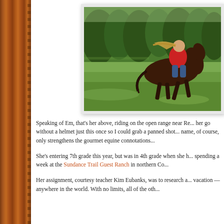[Figure (photo): A girl with long hair riding a dark brown horse at a gallop across an open green meadow with pine forest in the background]
Speaking of Em, that's her above, riding on the open range near Re... her go without a helmet just this once so I could grab a panned shot... name, of course, only strengthens the gourmet equine connotations...
She's entering 7th grade this year, but was in 4th grade when she h... spending a week at the Sundance Trail Guest Ranch in northern Co...
Her assignment, courtesy teacher Kim Eubanks, was to research a... vacation -- anywhere in the world. With no limits, all of the oth...